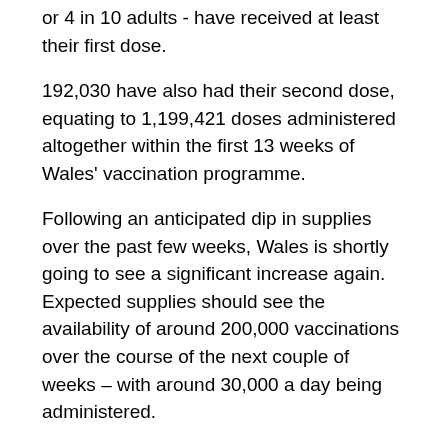or 4 in 10 adults - have received at least their first dose.
192,030 have also had their second dose, equating to 1,199,421 doses administered altogether within the first 13 weeks of Wales' vaccination programme.
Following an anticipated dip in supplies over the past few weeks, Wales is shortly going to see a significant increase again. Expected supplies should see the availability of around 200,000 vaccinations over the course of the next couple of weeks – with around 30,000 a day being administered.
This includes second doses for the many more people due to receive theirs in the coming weeks, and supplies for this have been planned for too.